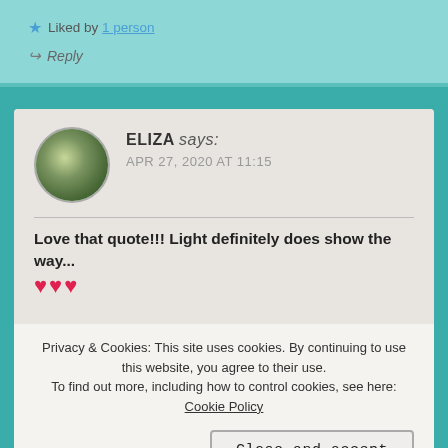★ Liked by 1 person
↪ Reply
ELIZA says: APR 27, 2020 AT 11:15
Love that quote!!! Light definitely does show the way... ❤❤❤
Privacy & Cookies: This site uses cookies. By continuing to use this website, you agree to their use. To find out more, including how to control cookies, see here: Cookie Policy
Close and accept